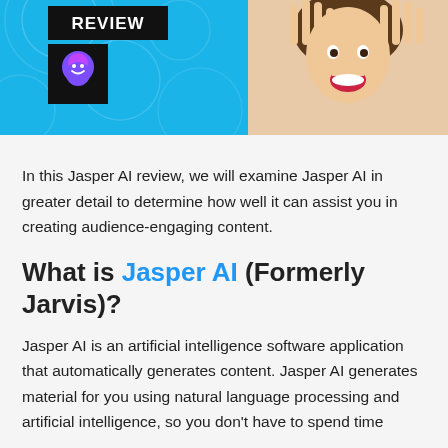[Figure (illustration): Banner image with cyan/blue background, 'REVIEW' label in black box, Jasper AI logo icon in black box, and a smiling woman with hands raised beside her face on the right side.]
In this Jasper AI review, we will examine Jasper AI in greater detail to determine how well it can assist you in creating audience-engaging content.
What is Jasper AI (Formerly Jarvis)?
Jasper AI is an artificial intelligence software application that automatically generates content. Jasper AI generates material for you using natural language processing and artificial intelligence, so you don't have to spend time